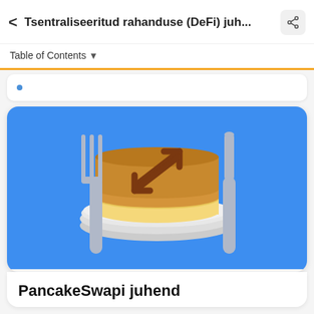< Tsentraliseeritud rahanduse (DeFi) juh... [share]
Table of Contents ▾
[Figure (illustration): PancakeSwap logo illustration: blue rounded rectangle background with a white plate, a stack of pancakes with a brown top pancake showing two-arrow swap icon, and grey fork on the left and grey knife on the right]
PancakeSwapi juhend